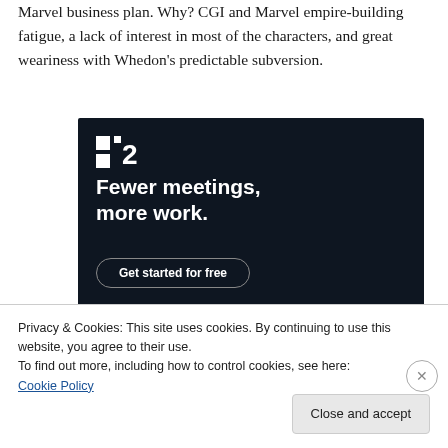Marvel business plan. Why? CGI and Marvel empire-building fatigue, a lack of interest in most of the characters, and great weariness with Whedon's predictable subversion.
[Figure (illustration): Dark-themed advertisement for a project management / productivity app called '2' (Basecamp-style). Logo top-left shows a white square icon with '2'. Large bold white text reads 'Fewer meetings, more work.' with a rounded button 'Get started for free' at the bottom.]
Privacy & Cookies: This site uses cookies. By continuing to use this website, you agree to their use.
To find out more, including how to control cookies, see here: Cookie Policy
Close and accept